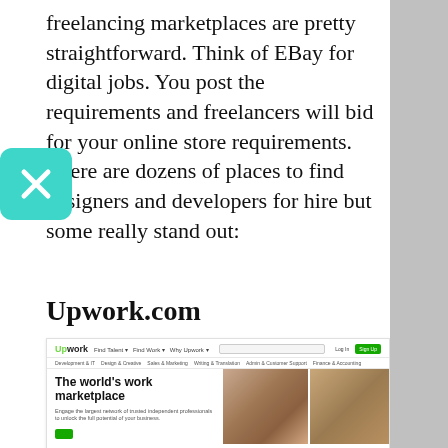freelancing marketplaces are pretty straightforward. Think of EBay for digital jobs. You post the requirements and freelancers will bid for your online store requirements. There are dozens of places to find designers and developers for hire but some really stand out:
Upwork.com
[Figure (screenshot): Screenshot of Upwork.com homepage showing the navigation bar with logo, Find Talent, Find Work, Why Upwork menus, search bar, Log In and Sign Up buttons, category links including Development & IT, Design & Creative, Sales & Marketing, Writing & Translation, Admin & Customer Support, Finance & Accounting, and hero section with bold headline 'The world's work marketplace', subtext 'Engage the largest network of trusted independent professionals to unlock the full potential of your business.', and photos of professionals working.]